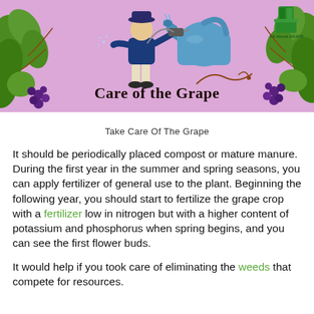[Figure (illustration): Banner with pink/lavender background, gardener spraying plants on left, large blue watering can on right, green vine decorations with grapes on both sides, 'All About AGAVE' logo in top right, bold text 'Care of the Grape' at bottom center]
Take Care Of The Grape
It should be periodically placed compost or mature manure. During the first year in the summer and spring seasons, you can apply fertilizer of general use to the plant. Beginning the following year, you should start to fertilize the grape crop with a fertilizer low in nitrogen but with a higher content of potassium and phosphorus when spring begins, and you can see the first flower buds.
It would help if you took care of eliminating the weeds that compete for resources.